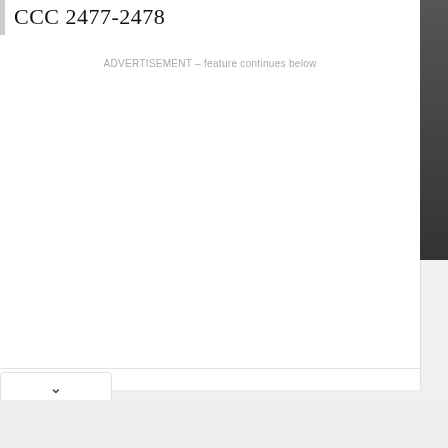CCC 2477-2478
ADVERTISEMENT – feature continues below